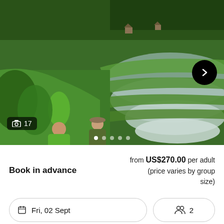[Figure (photo): Hikers climbing through lush green rice terraces in a mountainous landscape, with tiered paddy fields and small huts visible in the background.]
17
Book in advance
from US$270.00 per adult (price varies by group size)
Fri, 02 Sept
2